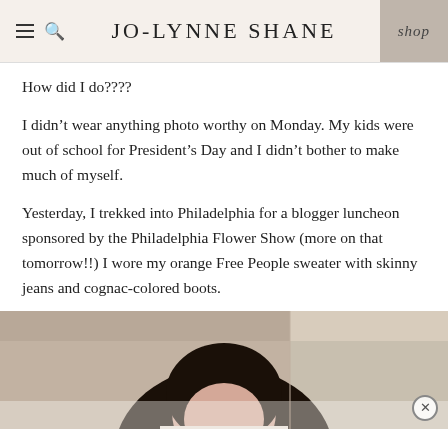JO-LYNNE SHANE
How did I do????
I didn’t wear anything photo worthy on Monday. My kids were out of school for President’s Day and I didn’t bother to make much of myself.
Yesterday, I trekked into Philadelphia for a blogger luncheon sponsored by the Philadelphia Flower Show (more on that tomorrow!!) I wore my orange Free People sweater with skinny jeans and cognac-colored boots.
[Figure (photo): Partial photo of a person with dark hair, cropped at the top of the frame, shown from roughly the shoulders up against a beige/warm background]